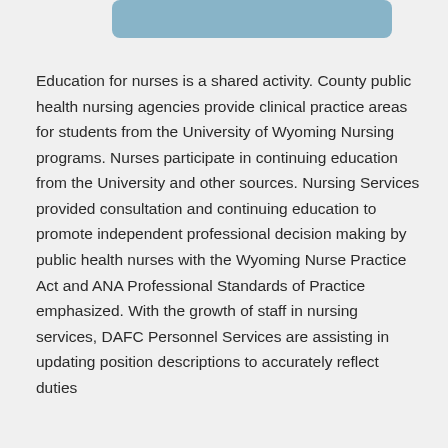[Figure (other): Decorative blue rounded rectangle bar at top of page]
Education for nurses is a shared activity. County public health nursing agencies provide clinical practice areas for students from the University of Wyoming Nursing programs. Nurses participate in continuing education from the University and other sources. Nursing Services provided consultation and continuing education to promote independent professional decision making by public health nurses with the Wyoming Nurse Practice Act and ANA Professional Standards of Practice emphasized. With the growth of staff in nursing services, DAFC Personnel Services are assisting in updating position descriptions to accurately reflect duties